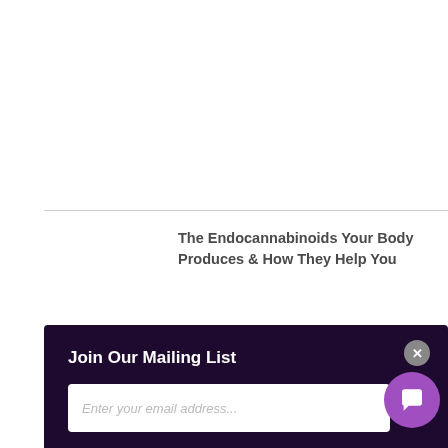The Endocannabinoids Your Body Produces & How They Help You
Join Our Mailing List
Enter your email address...